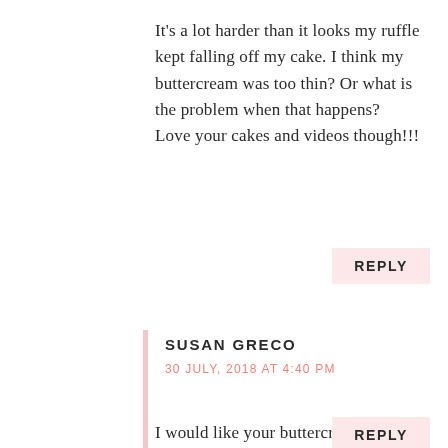It's a lot harder than it looks my ruffle kept falling off my cake. I think my buttercream was too thin? Or what is the problem when that happens? Love your cakes and videos though!!!
REPLY
SUSAN GRECO
30 JULY, 2018 AT 4:40 PM
I would like your buttercream recipe please
REPLY